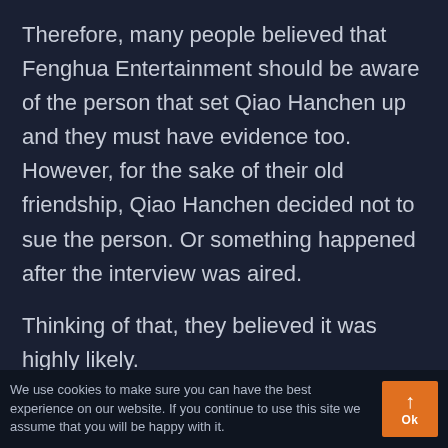Therefore, many people believed that Fenghua Entertainment should be aware of the person that set Qiao Hanchen up and they must have evidence too. However, for the sake of their old friendship, Qiao Hanchen decided not to sue the person. Or something happened after the interview was aired.
Thinking of that, they believed it was highly likely.
We use cookies to make sure you can have the best experience on our website. If you continue to use this site we assume that you will be happy with it.